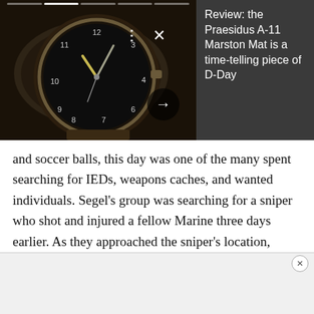[Figure (photo): Close-up photo of a dark-faced military-style analog watch on a leather strap, displayed on a dark background]
Review: the Praesidus A-11 Marston Mat is a time-telling piece of D-Day
and soccer balls, this day was one of the many spent searching for IEDs, weapons caches, and wanted individuals. Segel's group was searching for a sniper who shot and injured a fellow Marine three days earlier. As they approached the sniper's location, Segel felt an armor-piercing round slice through his protective vest and enter his abdomen, while a second
[Figure (other): Advertisement strip at the bottom of the page with a close button]